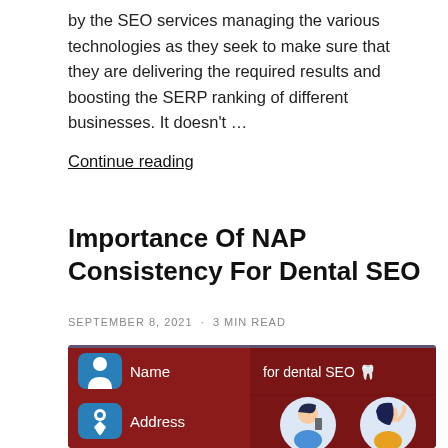by the SEO services managing the various technologies as they seek to make sure that they are delivering the required results and boosting the SERP ranking of different businesses. It doesn't …
Continue reading
Importance Of NAP Consistency For Dental SEO
SEPTEMBER 8, 2021 · 3 min read
[Figure (illustration): Infographic showing NAP consistency for dental SEO: a dark red background panel with a blue icon of a person labeled 'Name', a blue location pin icon labeled 'Address', text reading 'for dental SEO' with a tooth emoji, and two circular illustrations of women using mobile devices.]